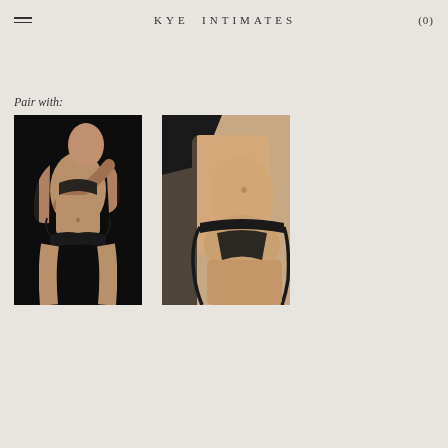KYE INTIMATES (0)
Pair with:
[Figure (photo): Fashion photo of a woman in black sheer lingerie set (bra and thong) against a dark background]
[Figure (photo): Close-up fashion photo of a woman wearing black sheer thong underwear, cropped to show torso and hips]